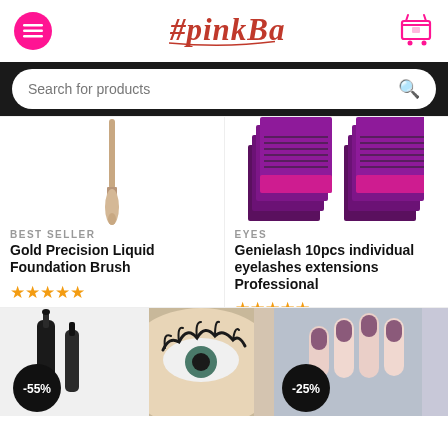#pinkbae
Search for products
BEST SELLER
Gold Precision Liquid Foundation Brush
EYES
Genielash 10pcs individual eyelashes extensions Professional
[Figure (illustration): Discount badge -55% with mascara product]
[Figure (photo): Close-up eye with lashes]
[Figure (photo): Purple/mauve nails on hand with -25% discount badge]